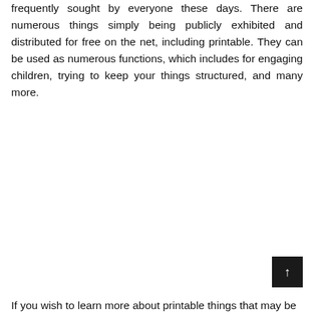frequently sought by everyone these days. There are numerous things simply being publicly exhibited and distributed for free on the net, including printable. They can be used as numerous functions, which includes for engaging children, trying to keep your things structured, and many more.
If you wish to learn more about printable things that may be